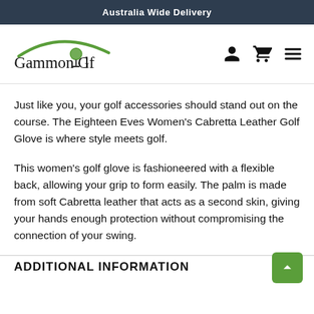Australia Wide Delivery
[Figure (logo): Gammon Golf logo with green arc and golf ball on tee, with user, cart, and menu icons]
Just like you, your golf accessories should stand out on the course. The Eighteen Eves Women's Cabretta Leather Golf Glove is where style meets golf.
This women's golf glove is fashioneered with a flexible back, allowing your grip to form easily. The palm is made from soft Cabretta leather that acts as a second skin, giving your hands enough protection without compromising the connection of your swing.
ADDITIONAL INFORMATION